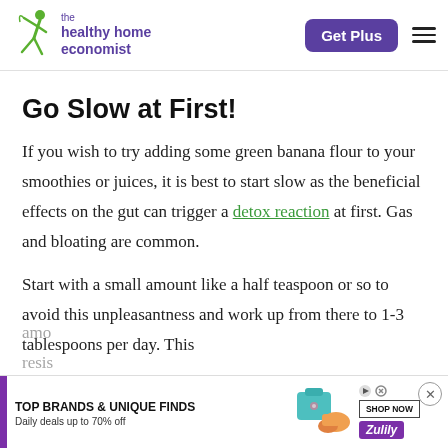[Figure (logo): The Healthy Home Economist logo with green jumping figure and purple text]
Go Slow at First!
If you wish to try adding some green banana flour to your smoothies or juices, it is best to start slow as the beneficial effects on the gut can trigger a detox reaction at first. Gas and bloating are common.
Start with a small amount like a half teaspoon or so to avoid this unpleasantness and work up from there to 1-3 tablespoons per day. This
[Figure (screenshot): Advertisement banner: TOP BRANDS & UNIQUE FINDS - Daily deals up to 70% off - Zulily SHOP NOW]